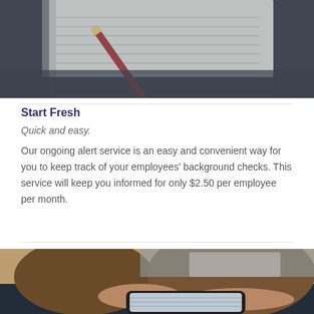[Figure (photo): Top portion of a notebook with a pencil on a dark desk surface]
Start Fresh
Quick and easy.
Our ongoing alert service is an easy and convenient way for you to keep track of your employees' background checks. This service will keep you informed for only $2.50 per employee per month.
[Figure (photo): Person in brown sweater using a smartphone, hands visible holding the phone]